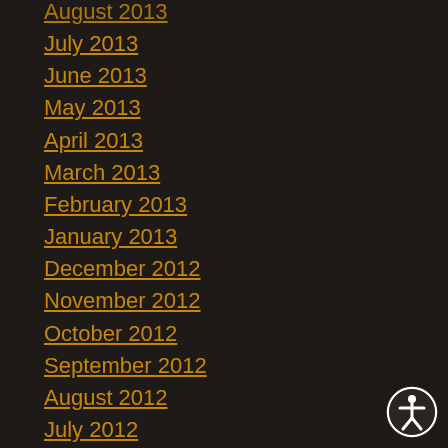August 2013
July 2013
June 2013
May 2013
April 2013
March 2013
February 2013
January 2013
December 2012
November 2012
October 2012
September 2012
August 2012
July 2012
June 2012
May 2012
April 2012
March 2012
[Figure (illustration): Accessibility icon - circular button with a stylized human figure, white on dark background with white border ring]